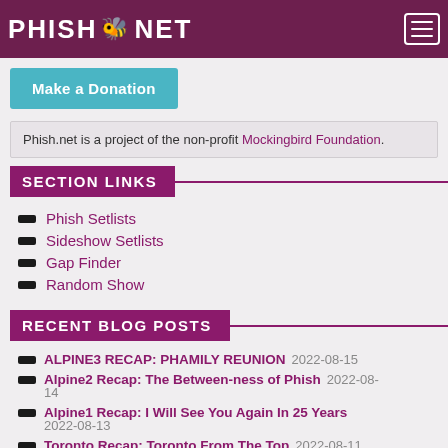PHISH.NET
Make a Donation
Phish.net is a project of the non-profit Mockingbird Foundation.
SECTION LINKS
Phish Setlists
Sideshow Setlists
Gap Finder
Random Show
RECENT BLOG POSTS
ALPINE3 RECAP: PHAMILY REUNION 2022-08-15
Alpine2 Recap: The Between-ness of Phish 2022-08-14
Alpine1 Recap: I Will See You Again In 25 Years 2022-08-13
Toronto Recap: Toronto From The Top 2022-08-11